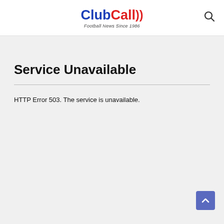ClubCall - Football News Since 1986
Service Unavailable
HTTP Error 503. The service is unavailable.